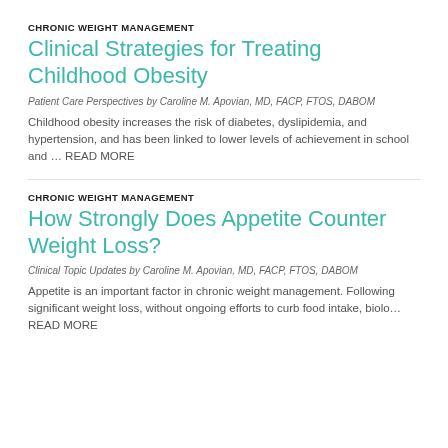CHRONIC WEIGHT MANAGEMENT
Clinical Strategies for Treating Childhood Obesity
Patient Care Perspectives by Caroline M. Apovian, MD, FACP, FTOS, DABOM
Childhood obesity increases the risk of diabetes, dyslipidemia, and hypertension, and has been linked to lower levels of achievement in school and … READ MORE
CHRONIC WEIGHT MANAGEMENT
How Strongly Does Appetite Counter Weight Loss?
Clinical Topic Updates by Caroline M. Apovian, MD, FACP, FTOS, DABOM
Appetite is an important factor in chronic weight management. Following significant weight loss, without ongoing efforts to curb food intake, biolo… READ MORE